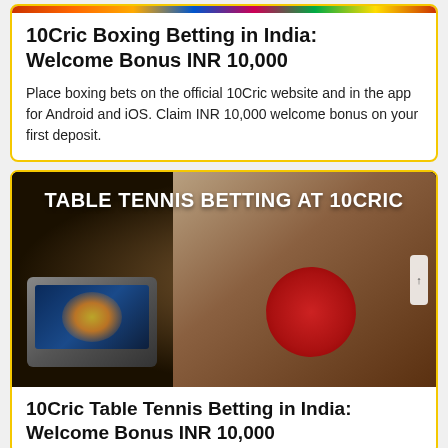10Cric Boxing Betting in India: Welcome Bonus INR 10,000
Place boxing bets on the official 10Cric website and in the app for Android and iOS. Claim INR 10,000 welcome bonus on your first deposit.
[Figure (photo): Promotional banner showing a table tennis player holding a red paddle alongside a laptop displaying the 10Cric website. Text overlay reads: TABLE TENNIS BETTING AT 10CRIC]
10Cric Table Tennis Betting in India: Welcome Bonus INR 10,000